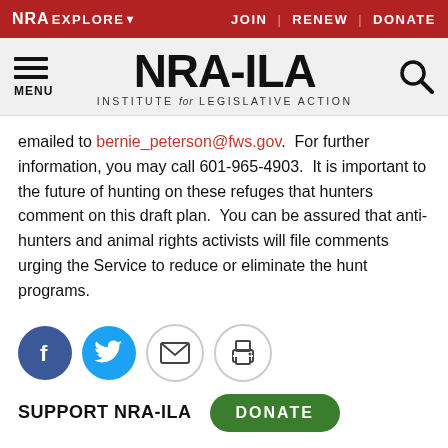NRA EXPLORE ▾  JOIN | RENEW | DONATE
[Figure (logo): NRA-ILA logo with hamburger menu, NRA-ILA Institute for Legislative Action wordmark, and search icon]
emailed to bernie_peterson@fws.gov.  For further information, you may call 601-965-4903.  It is important to the future of hunting on these refuges that hunters comment on this draft plan.  You can be assured that anti-hunters and animal rights activists will file comments urging the Service to reduce or eliminate the hunt programs.
[Figure (infographic): Social sharing icons: Facebook (blue circle), Twitter (blue circle), Email (grey circle with envelope), Print (grey circle with printer)]
SUPPORT NRA-ILA   DONATE
TRENDING NOW